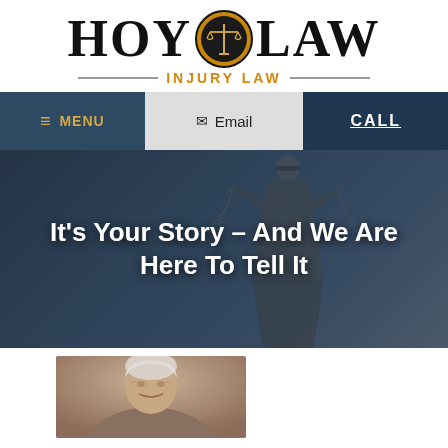[Figure (logo): Hoy Law - Injury Law logo with scales of justice emblem]
≡ MENU  ✉ Email  CALL
It's Your Story – And We Are Here To Tell It
[Figure (photo): Portrait photo of an elderly person with white/grey hair]